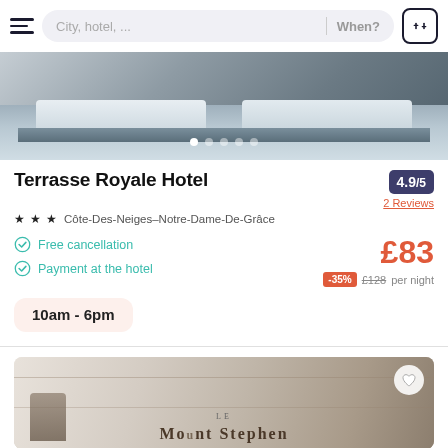City, hotel, ...  When?
[Figure (photo): Black and white photo of a hotel bedroom with a bed and pillows, carousel dot indicators visible]
Terrasse Royale Hotel
4.9/5
2 Reviews
★ ★ ★  Côte-Des-Neiges–Notre-Dame-De-Grâce
Free cancellation
Payment at the hotel
£83
-35%  £128 per night
10am - 6pm
[Figure (photo): Photo of a hotel lobby with marble wall sign reading LE MOUNT STEPHEN, with a heart/favourite button in corner]